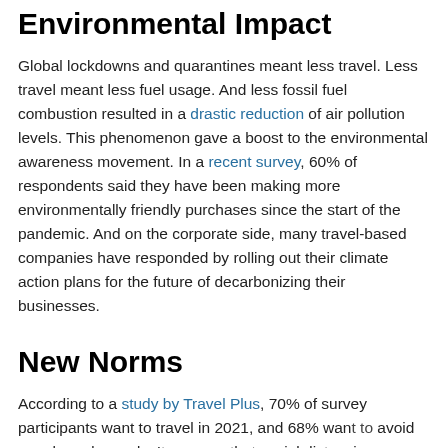Environmental Impact
Global lockdowns and quarantines meant less travel. Less travel meant less fuel usage. And less fossil fuel combustion resulted in a drastic reduction of air pollution levels. This phenomenon gave a boost to the environmental awareness movement. In a recent survey, 60% of respondents said they have been making more environmentally friendly purchases since the start of the pandemic. And on the corporate side, many travel-based companies have responded by rolling out their climate action plans for the future of decarbonizing their businesses.
New Norms
According to a study by Travel Plus, 70% of survey participants want to travel in 2021, and 68% want to avoid people and crowds. It appears that social distancing guidelines may have sparked reminders that...